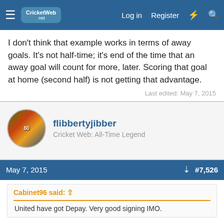CricketWeb.net — Log in | Register
I don't think that example works in terms of away goals. It's not half-time; it's end of the time that an away goal will count for more, later. Scoring that goal at home (second half) is not getting that advantage.
Last edited: May 7, 2015
flibbertyjibber
Cricket Web: All-Time Legend
May 7, 2015  #7,526
Cabinet96 said: ↑
United have got Depay. Very good signing IMO.
Very good signing indeed, Dutch players usually do very well over here too.